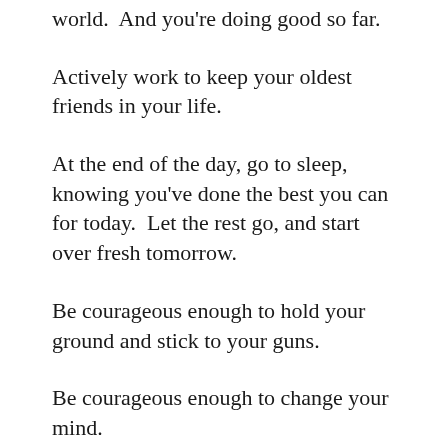world.  And you're doing good so far.
Actively work to keep your oldest friends in your life.
At the end of the day, go to sleep, knowing you've done the best you can for today.  Let the rest go, and start over fresh tomorrow.
Be courageous enough to hold your ground and stick to your guns.
Be courageous enough to change your mind.
Be courageous enough to change directions.
Find time for naps on sunny days.
Contribute something positive to the planet. Make